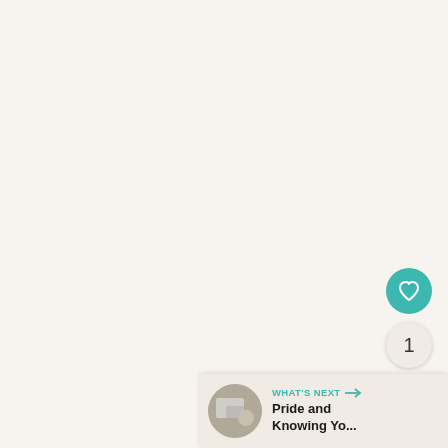[Figure (screenshot): Like/favorite button: teal circular button with white heart icon]
1
[Figure (screenshot): Share button: light circular button with share/plus icon]
[Figure (screenshot): What's Next bar at bottom right with thumbnail and text: WHAT'S NEXT → Pride and Knowing Yo...]